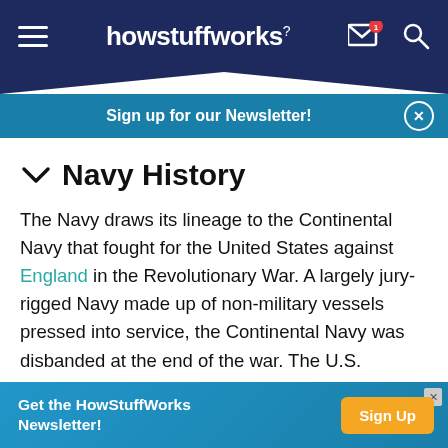howstuffworks
Sign up for our Newsletter!
Navy History
The Navy draws its lineage to the Continental Navy that fought for the United States against England in the Revolutionary War. A largely jury-rigged Navy made up of non-military vessels pressed into service, the Continental Navy was disbanded at the end of the war. The U.S. Constitution empowered Congress to raise and fund a Navy, which they finally did in 1794. The Department of the Navy was formed in 1798 [source: The Naval Historical Center]. Only one of the original six frigates purchased in
Get the HowStuffWorks Newsletter! Sign Up